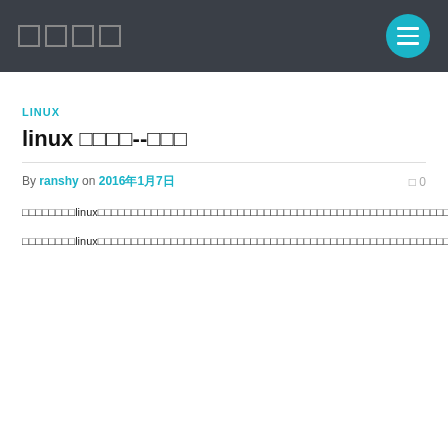□□□□
LINUX
linux □□□□--□□□
By ranshy on 2016年1月7日  □ 0
□□□□□□□□linux□□□□□□□□□□□□□□□□□□□□□□□□□□□□□□□□□□□□□□□□□□□□□□□□□□□□□□□□□□□□□□□□□□□□□□□□□□□□□□□□□□□□□□□□□□□□□□□□□□□□□□□□□□□□□□□□□□□□□□□□□□□□□□
□□□□□□□□linux□□□□□□□□□□□□□□□□□□□□□□□□□□□□□□□□□□□□□□□□□□□□□□□□□□□□□□□□□□□□□□□□linux□□□□□□□□□□□□□□□□□□□□□□google□□□